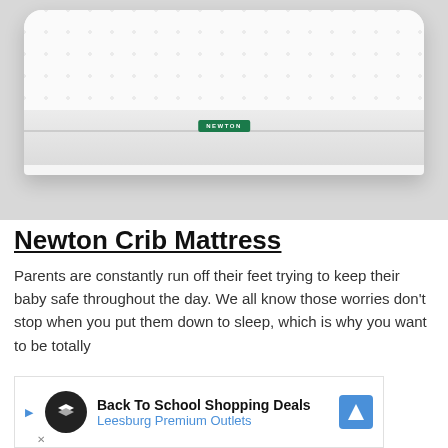[Figure (photo): White Newton crib mattress with quilted top surface and green Newton brand label, photographed against a light gray background]
Newton Crib Mattress
Parents are constantly run off their feet trying to keep their baby safe throughout the day. We all know those worries don't stop when you put them down to sleep, which is why you want to be totally
[Figure (other): Advertisement banner: Back To School Shopping Deals – Leesburg Premium Outlets]